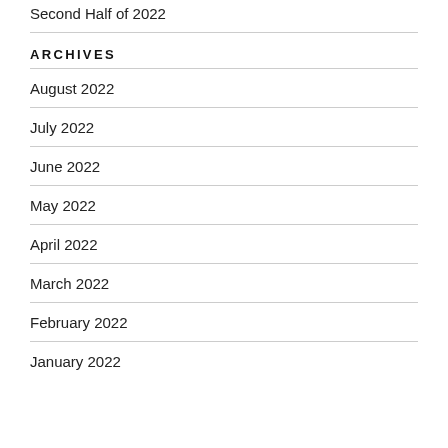Second Half of 2022
ARCHIVES
August 2022
July 2022
June 2022
May 2022
April 2022
March 2022
February 2022
January 2022